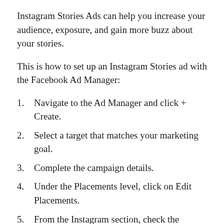Instagram Stories Ads can help you increase your audience, exposure, and gain more buzz about your stories.
This is how to set up an Instagram Stories ad with the Facebook Ad Manager:
Navigate to the Ad Manager and click + Create.
Select a target that matches your marketing goal.
Complete the campaign details.
Under the Placements level, click on Edit Placements.
From the Instagram section, check the Stories box.
Define your ad schedule and budget. Instagram Stories Ads can run the length of